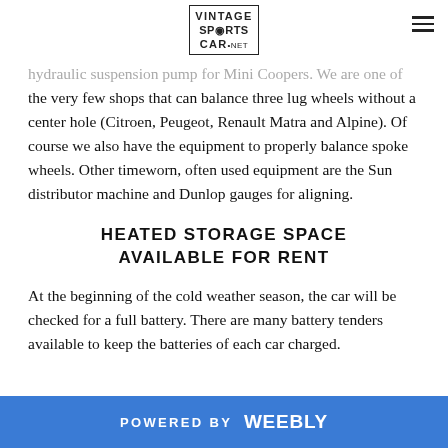Vintage Sports Car
hydraulic suspension pump for Mini Coopers. We are one of the very few shops that can balance three lug wheels without a center hole (Citroen, Peugeot, Renault Matra and Alpine). Of course we also have the equipment to properly balance spoke wheels. Other timeworn, often used equipment are the Sun distributor machine and Dunlop gauges for aligning.
HEATED STORAGE SPACE AVAILABLE FOR RENT
At the beginning of the cold weather season, the car will be checked for a full battery. There are many battery tenders available to keep the batteries of each car charged.
POWERED BY weebly